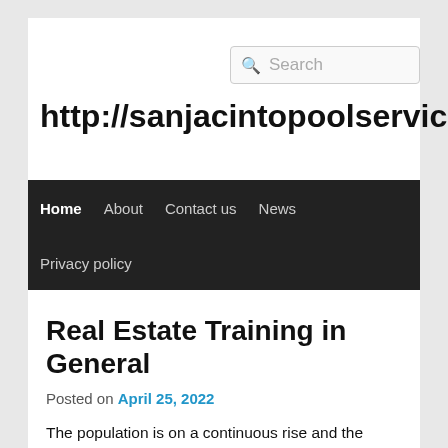Search
http://sanjacintopoolservice.info
Home | About | Contact us | News | Privacy policy
Real Estate Training in General
Posted on April 25, 2022
The population is on a continuous rise and the number of people in the world is increasing every second. The